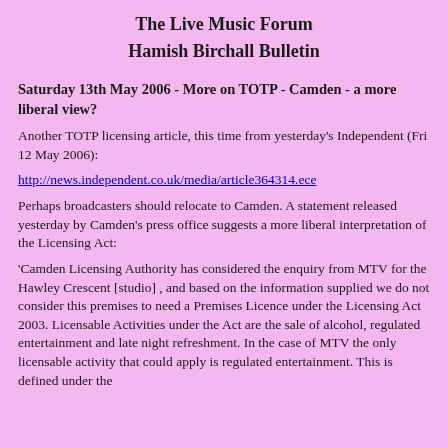The Live Music Forum
Hamish Birchall Bulletin
Saturday 13th May 2006 - More on TOTP - Camden - a more liberal view?
Another TOTP licensing article, this time from yesterday's Independent (Fri 12 May 2006):
http://news.independent.co.uk/media/article364314.ece
Perhaps broadcasters should relocate to Camden. A statement released yesterday by Camden's press office suggests a more liberal interpretation of the Licensing Act:
'Camden Licensing Authority has considered the enquiry from MTV for the Hawley Crescent [studio] , and based on the information supplied we do not consider this premises to need a Premises Licence under the Licensing Act 2003. Licensable Activities under the Act are the sale of alcohol, regulated entertainment and late night refreshment. In the case of MTV the only licensable activity that could apply is regulated entertainment. This is defined under the previous government's provisions with...